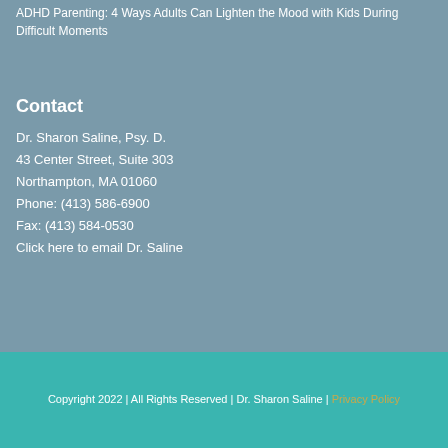ADHD Parenting: 4 Ways Adults Can Lighten the Mood with Kids During Difficult Moments
Contact
Dr. Sharon Saline, Psy. D.
43 Center Street, Suite 303
Northampton, MA 01060
Phone: (413) 586-6900
Fax: (413) 584-0530
Click here to email Dr. Saline
Copyright 2022 | All Rights Reserved | Dr. Sharon Saline | Privacy Policy